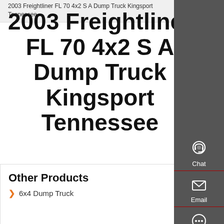2003 Freightliner FL 70 4x2 S A Dump Truck Kingsport Tennessee
2003 Freightliner FL 70 4x2 S A Dump Truck Kingsport Tennessee
Other Products
6x4 Dump Truck
[Figure (infographic): Right sidebar with dark grey background containing Chat, Email, Contact, and Top navigation buttons with icons]